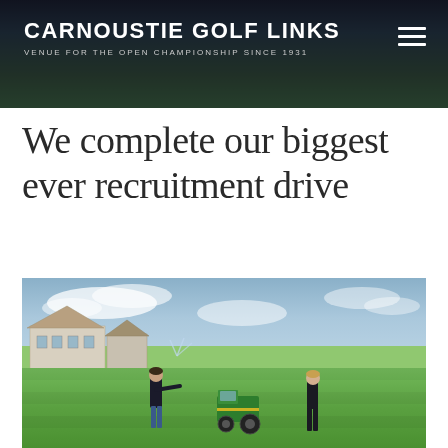CARNOUSTIE GOLF LINKS — VENUE FOR THE OPEN CHAMPIONSHIP SINCE 1931
We complete our biggest ever recruitment drive
[Figure (photo): Two people standing on a golf course green with a clubhouse building in the background and a green tractor/mower. One person is pointing. Sky with clouds above. Carnoustie Golf Links.]